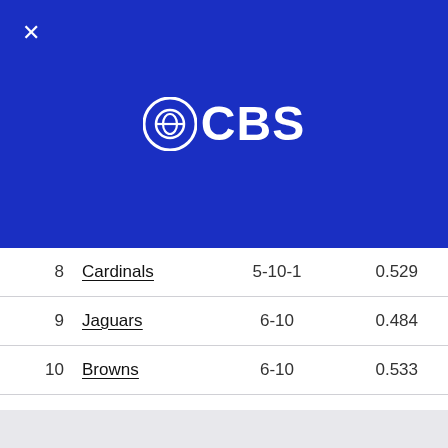[Figure (logo): CBS eye logo with text 'CBS' in white on blue background]
| # | Team | Record | Pct |
| --- | --- | --- | --- |
| 8 | Cardinals | 5-10-1 | 0.529 |
| 9 | Jaguars | 6-10 | 0.484 |
| 10 | Browns | 6-10 | 0.533 |